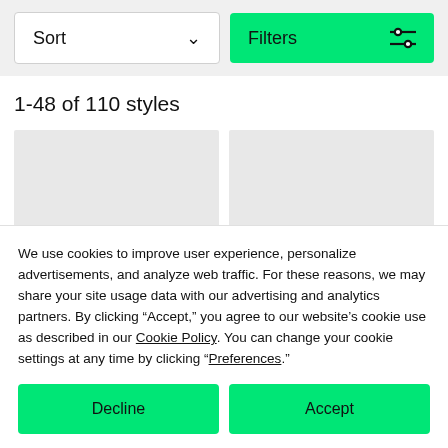Sort
Filters
1-48 of 110 styles
[Figure (other): Two gray placeholder product image cards in a grid layout]
We use cookies to improve user experience, personalize advertisements, and analyze web traffic. For these reasons, we may share your site usage data with our advertising and analytics partners. By clicking “Accept,” you agree to our website’s cookie use as described in our Cookie Policy. You can change your cookie settings at any time by clicking “Preferences.”
Decline
Accept